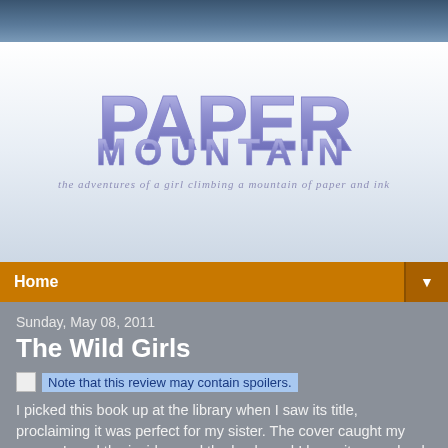[Figure (illustration): Dark blue cloudy sky photo strip at top of page]
PAPER MOUNTAIN
the adventures of a girl climbing a mountain of paper and ink
Home ▼
Sunday, May 08, 2011
The Wild Girls
Note that this review may contain spoilers.
I picked this book up at the library when I saw its title, proclaiming it was perfect for my sister. The cover caught my eye so I read the inside, read the back, and I knew it was a book I had to read. After all, what better story for a teenager